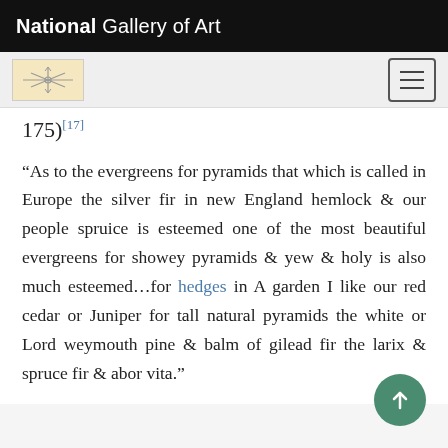National Gallery of Art
175)[17]
“As to the evergreens for pyramids that which is called in Europe the silver fir in new England hemlock & our people spruice is esteemed one of the most beautiful evergreens for showey pyramids & yew & holy is also much esteemed…for hedges in A garden I like our red cedar or Juniper for tall natural pyramids the white or Lord weymouth pine & balm of gilead fir the larix & spruce fir & abor vita.”